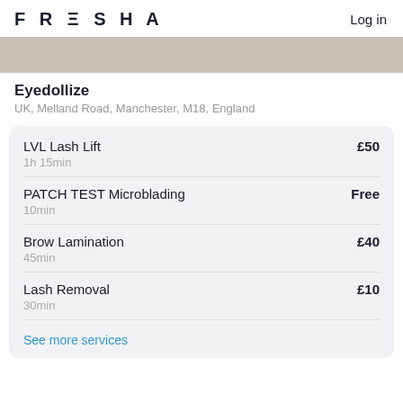FRESHA  Log in
[Figure (photo): Beige/tan hero banner image (partially visible, cropped top)]
Eyedollize
UK, Melland Road, Manchester, M18, England
LVL Lash Lift  1h 15min  £50
PATCH TEST Microblading  10min  Free
Brow Lamination  45min  £40
Lash Removal  30min  £10
See more services